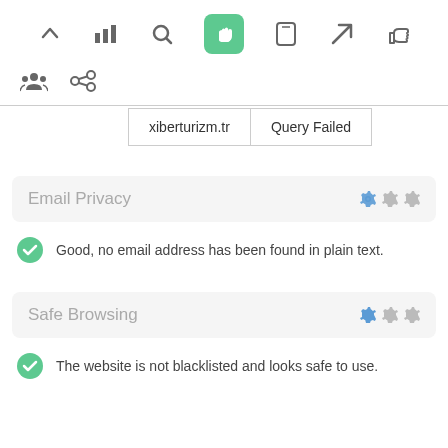[Figure (screenshot): Navigation toolbar with icons: up arrow, bar chart, search, hand pointer (active/highlighted green), mobile, send/rocket, thumbs up]
[Figure (screenshot): Secondary toolbar row with people/group icon and link icon]
| xiberturizm.tr | Query Failed |
Email Privacy
Good, no email address has been found in plain text.
Safe Browsing
The website is not blacklisted and looks safe to use.